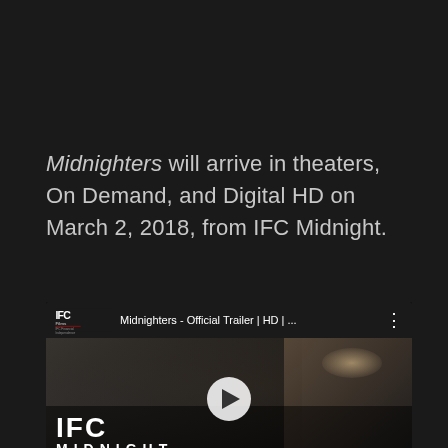Midnighters will arrive in theaters, On Demand, and Digital HD on March 2, 2018, from IFC Midnight.
[Figure (screenshot): YouTube video thumbnail for 'Midnighters - Official Trailer | HD | ...' from IFC Films channel. Shows a man in a dimly lit scene with IFC Midnight logo overlaid at the bottom. A play button is visible in the center.]